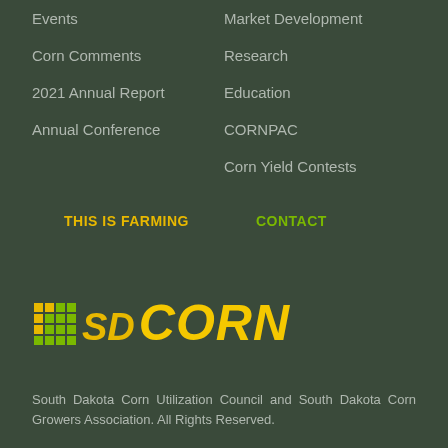Events
Market Development
Corn Comments
Research
2021 Annual Report
Education
Annual Conference
CORNPAC
Corn Yield Contests
THIS IS FARMING
CONTACT
[Figure (logo): SD Corn logo with grid icon and text 'SD CORN' in yellow and green italic bold font]
South Dakota Corn Utilization Council and South Dakota Corn Growers Association. All Rights Reserved.